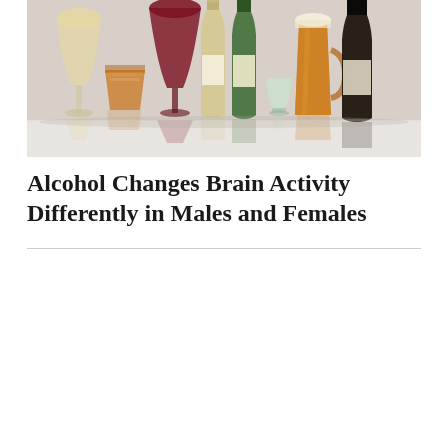[Figure (photo): Photo of various alcoholic beverages including wine glasses, beer glasses, whiskey glass, wine bottles, beer bottle, and spirits bottles arranged on a reflective surface against a light background.]
Alcohol Changes Brain Activity Differently in Males and Females